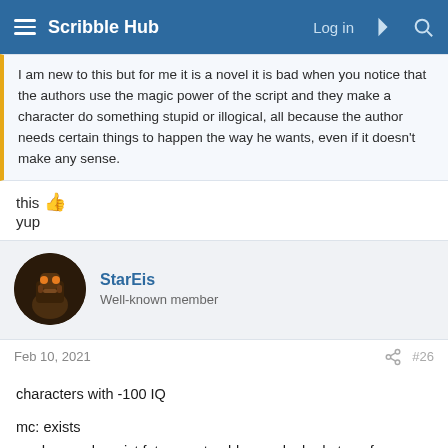Scribble Hub
I am new to this but for me it is a novel it is bad when you notice that the authors use the magic power of the script and they make a character do something stupid or illogical, all because the author needs certain things to happen the way he wants, even if it doesn't make any sense.
this 👍
yup
StarEis
Well-known member
Feb 10, 2021
#26
characters with -100 IQ

mc: exists
random cuck rapist fat corrupt noble: you looked at me funny lmao, guards kill him *die*